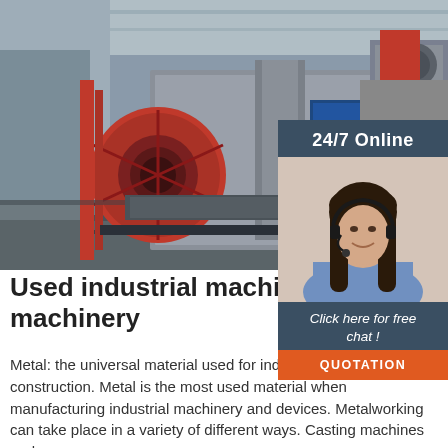[Figure (photo): Industrial machinery factory floor with red spool/reel and metal processing equipment on rails, factory interior with overhead cranes visible]
[Figure (infographic): 24/7 Online support sidebar with photo of smiling woman with headset, 'Click here for free chat!' text and orange QUOTATION button]
Used industrial machinery and machinery
Metal: the universal material used for industrial machinery construction. Metal is the most used material when manufacturing industrial machinery and devices. Metalworking can take place in a variety of different ways. Casting machines and